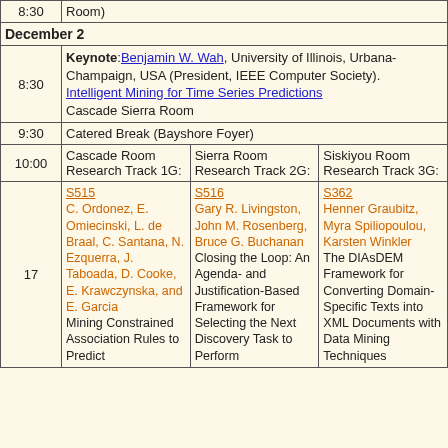| Time | Details |  |  |
| --- | --- | --- | --- |
| 8:30 | Room) |  |  |
| December 2 |  |  |  |
| 8:30 | Keynote: Benjamin W. Wah, University of Illinois, Urbana-Champaign, USA (President, IEEE Computer Society). Intelligent Mining for Time Series Predictions Cascade Sierra Room |  |  |
| 9:30 | Catered Break (Bayshore Foyer) |  |  |
| 10:00 | Cascade Room Research Track 1G: | Sierra Room Research Track 2G: | Siskiyou Room Research Track 3G: |
| 17 | S515 C. Ordonez, E. Omiecinski, L. de Braal, C. Santana, N. Ezquerra, J. Taboada, D. Cooke, E. Krawczynska, and E. Garcia Mining Constrained Association Rules to Predict | S516 Gary R. Livingston, John M. Rosenberg, Bruce G. Buchanan Closing the Loop: An Agenda- and Justification-Based Framework for Selecting the Next Discovery Task to Perform | S362 Henner Graubitz, Myra Spiliopoulou, Karsten Winkler The DIAsDEM Framework for Converting Domain-Specific Texts into XML Documents with Data Mining Techniques |